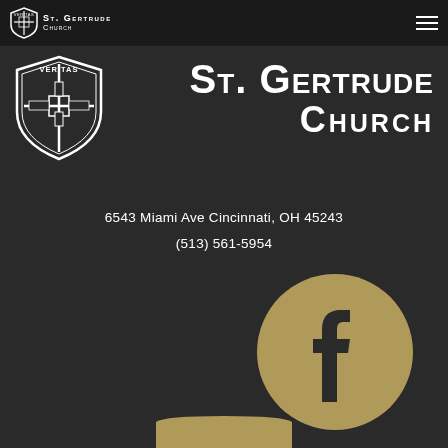[Figure (logo): St. Gertrude Church navigation bar logo with shield icon and church name in small caps]
[Figure (logo): Large St. Gertrude Church logo with VERITAS shield and large white text reading ST. GERTRUDE CHURCH on dark background]
6543 Miami Ave Cincinnati, OH 45243
(513) 561-5954
[Figure (logo): Facebook social media icon — gold/tan circle with white Facebook 'f' letterform]